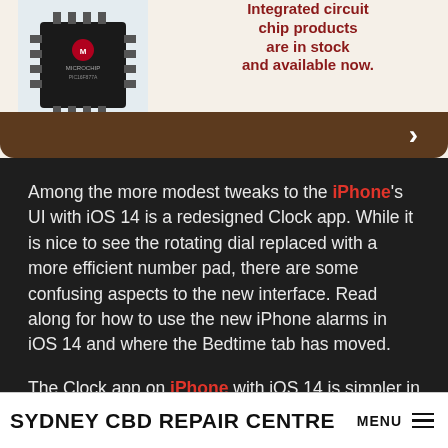[Figure (screenshot): Advertisement banner showing a Microchip brand integrated circuit chip on a light beige/blue background with red bold text reading 'Integrated circuit chip products are in stock and available now.' A brown rounded bar at the bottom has a right-pointing chevron arrow.]
Among the more modest tweaks to the iPhone's UI with iOS 14 is a redesigned Clock app. While it is nice to see the rotating dial replaced with a more efficient number pad, there are some confusing aspects to the new interface. Read along for how to use the new iPhone alarms in iOS 14 and where the Bedtime tab has moved.
The Clock app on iPhone with iOS 14 is simpler in some ways but also a bit counterintuitive in others. Below we'll
SYDNEY CBD REPAIR CENTRE MENU ≡